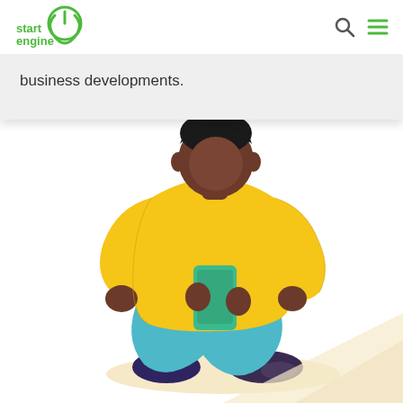[Figure (logo): StartEngine logo - green circular power icon with 'start engine' text in green]
[Figure (illustration): Illustration of a person with dark skin sitting cross-legged wearing a yellow sweater and blue pants, holding a green smartphone, with a beige shadow underneath]
business developments.